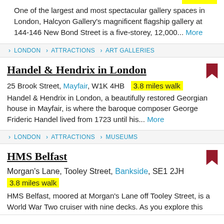One of the largest and most spectacular gallery spaces in London, Halcyon Gallery's magnificent flagship gallery at 144-146 New Bond Street is a five-storey, 12,000... More
> LONDON > ATTRACTIONS > ART GALLERIES
Handel & Hendrix in London
25 Brook Street, Mayfair, W1K 4HB  3.8 miles walk
Handel & Hendrix in London, a beautifully restored Georgian house in Mayfair, is where the baroque composer George Frideric Handel lived from 1723 until his... More
> LONDON > ATTRACTIONS > MUSEUMS
HMS Belfast
Morgan's Lane, Tooley Street, Bankside, SE1 2JH
3.8 miles walk
HMS Belfast, moored at Morgan's Lane off Tooley Street, is a World War Two cruiser with nine decks. As you explore this